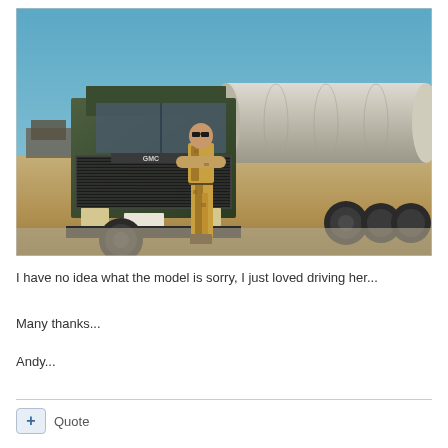[Figure (photo): A soldier in desert camouflage uniform standing in front of a large GMC military tanker truck in a desert environment. The truck is green with a large white cylindrical tank. The background shows a flat desert landscape with a clear blue sky.]
I have no idea what the model is sorry, I just loved driving her...
Many thanks...
Andy...
+ Quote